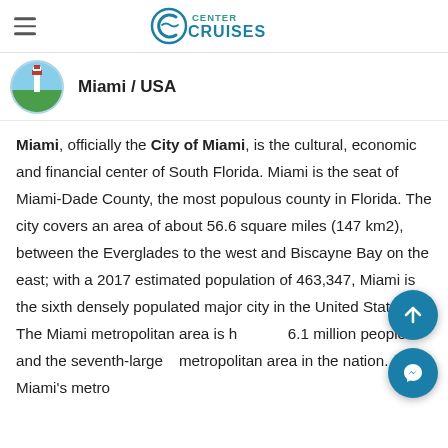CENTER CRUISES
Miami / USA
Miami, officially the City of Miami, is the cultural, economic and financial center of South Florida. Miami is the seat of Miami-Dade County, the most populous county in Florida. The city covers an area of about 56.6 square miles (147 km2), between the Everglades to the west and Biscayne Bay on the east; with a 2017 estimated population of 463,347, Miami is the sixth densely populated major city in the United States. The Miami metropolitan area is home to 6.1 million people and the seventh-largest metropolitan area in the nation. Miami's metro